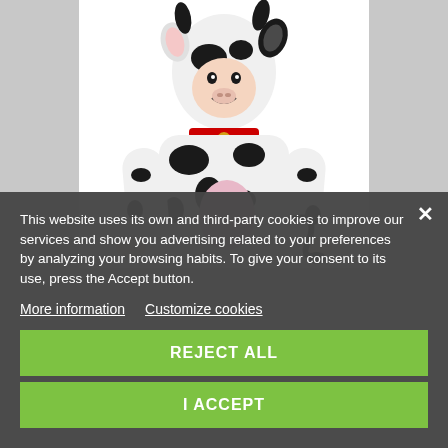[Figure (photo): A child wearing a black and white cow Halloween costume with a hood featuring ears and horns, a red collar with bell, and a pink belly patch. White background.]
This website uses its own and third-party cookies to improve our services and show you advertising related to your preferences by analyzing your browsing habits. To give your consent to its use, press the Accept button.
More information
Customize cookies
REJECT ALL
I ACCEPT